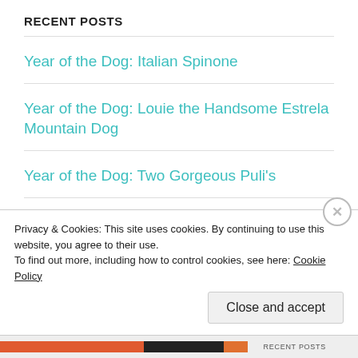RECENT POSTS
Year of the Dog: Italian Spinone
Year of the Dog: Louie the Handsome Estrela Mountain Dog
Year of the Dog: Two Gorgeous Puli's
Year of the Dog: Brilliant dogs in the park!
Year of the Dog: Hilda
Privacy & Cookies: This site uses cookies. By continuing to use this website, you agree to their use.
To find out more, including how to control cookies, see here: Cookie Policy
Close and accept